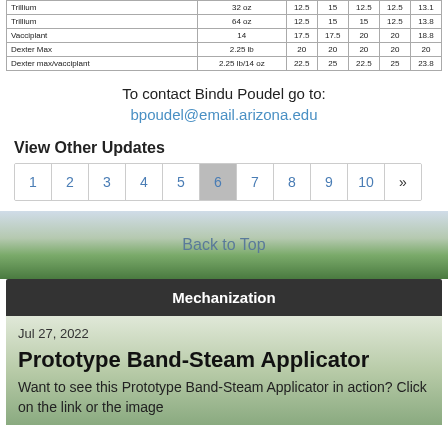|  |  |  |  |  |  |  |
| --- | --- | --- | --- | --- | --- | --- |
| Trillium | 32 oz | 12.5 | 15 | 12.5 | 12.5 | 13.1 |
| Trillium | 64 oz | 12.5 | 15 | 15 | 12.5 | 13.8 |
| Vacciplant | 14 | 17.5 | 17.5 | 20 | 20 | 18.8 |
| Dexter Max | 2.25 lb | 20 | 20 | 20 | 20 | 20 |
| Dexter max/vacciplant | 2.25 lb/14 oz | 22.5 | 25 | 22.5 | 25 | 23.8 |
To contact Bindu Poudel go to:
bpoudel@email.arizona.edu
View Other Updates
1 2 3 4 5 6 7 8 9 10 »
Back to Top
Mechanization
Jul 27, 2022
Prototype Band-Steam Applicator
Want to see this Prototype Band-Steam Applicator in action? Click on the link or the image